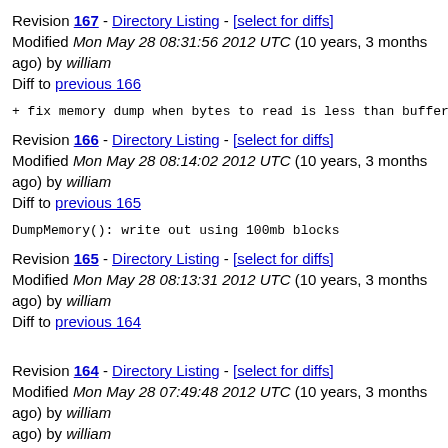Revision 167 - Directory Listing - [select for diffs]
Modified Mon May 28 08:31:56 2012 UTC (10 years, 3 months ago) by william
Diff to previous 166
+ fix memory dump when bytes to read is less than buffer
Revision 166 - Directory Listing - [select for diffs]
Modified Mon May 28 08:14:02 2012 UTC (10 years, 3 months ago) by william
Diff to previous 165
DumpMemory(): write out using 100mb blocks
Revision 165 - Directory Listing - [select for diffs]
Modified Mon May 28 08:13:31 2012 UTC (10 years, 3 months ago) by william
Diff to previous 164
Revision 164 - Directory Listing - [select for diffs]
Modified Mon May 28 07:49:48 2012 UTC (10 years, 3 months ago) by william